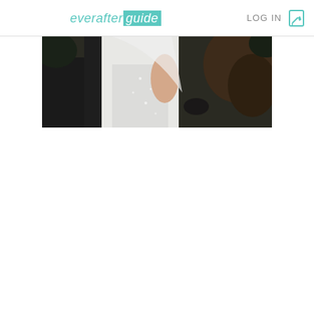everafterguide LOG IN
[Figure (photo): Wedding couple photo — man in dark suit and woman in white beaded wedding dress with veil, embracing, outdoor setting with dark greenery background]